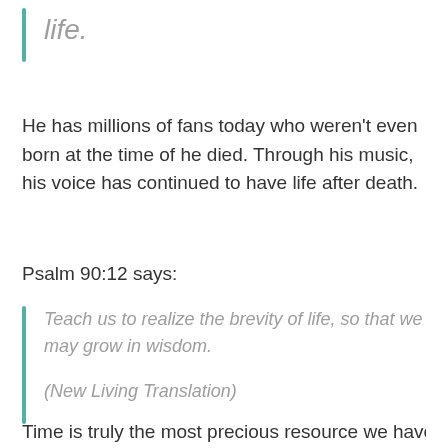life.
He has millions of fans today who weren't even born at the time of he died. Through his music, his voice has continued to have life after death.
Psalm 90:12 says:
Teach us to realize the brevity of life, so that we may grow in wisdom.
(New Living Translation)
Time is truly the most precious resource we have